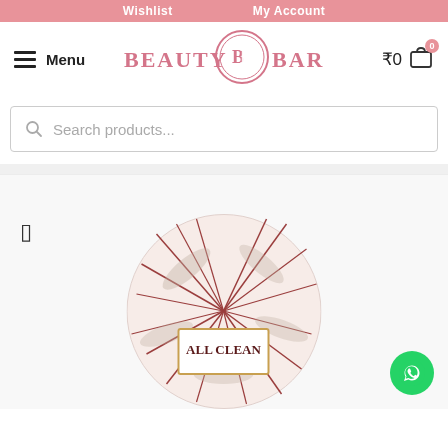Wishlist   My Account
[Figure (logo): Beauty Barn logo with pink circular BB emblem and text BEAUTY BARN]
Menu
₹0
Search products...
[Figure (photo): Product image of a circular tin with leaf pattern design and ALL CLEAN label, partially visible at bottom of page]